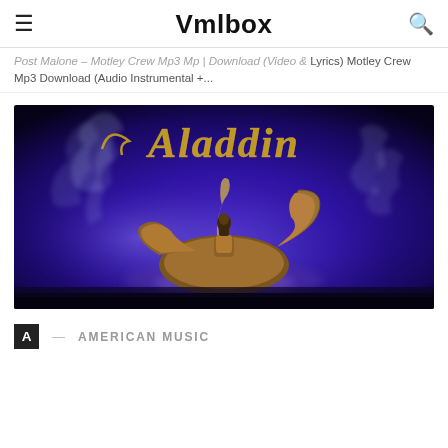Vmlbox
Post Malone – Motley Crew Mp3 Mp | Download (Video & Lyrics) Motley Crew Mp3 Download (Audio Instrumental +...
[Figure (photo): Aladdin movie promotional image showing a golden magic lamp with smoke swirling around it and the stylized gold text 'Aladdin' above, set against a dark blue/purple mystical background.]
A  —  AMERICAN MUSIC